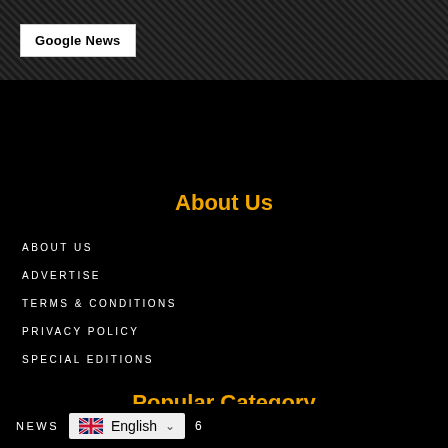[Figure (logo): Google News button on dark textured header bar]
About Us
ABOUT US
ADVERTISE
TERMS & CONDITIONS
PRIVACY POLICY
SPECIAL EDITIONS
Popular Category
NEWS  English  6